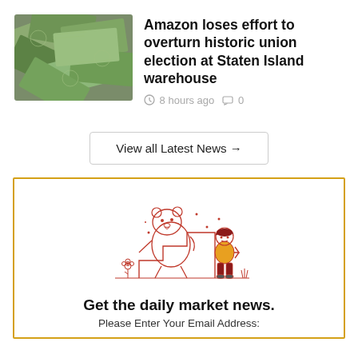[Figure (photo): Pile of US dollar bills scattered together]
Amazon loses effort to overturn historic union election at Staten Island warehouse
8 hours ago  0
View all Latest News →
[Figure (illustration): Line illustration of a bear and child sitting on steps with an upward arrow, a flower, and decorative dots. Red and yellow color scheme.]
Get the daily market news.
Please Enter Your Email Address: